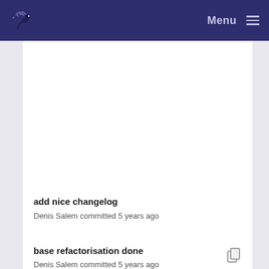Menu
add nice changelog
Denis Salem committed 5 years ago
base refactorisation done
Denis Salem committed 5 years ago